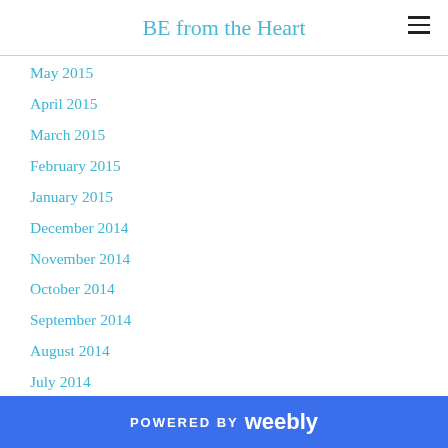BE from the Heart
May 2015
April 2015
March 2015
February 2015
January 2015
December 2014
November 2014
October 2014
September 2014
August 2014
July 2014
June 2014
May 2014
April 2014
March 2014
POWERED BY weebly